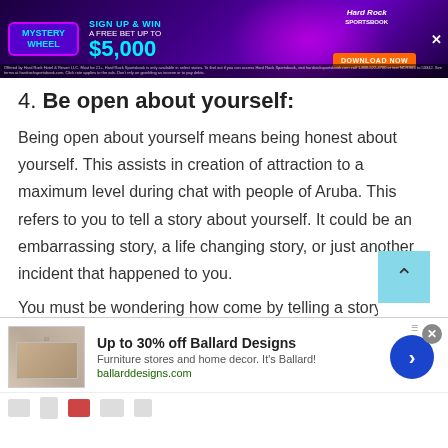[Figure (other): Hard Rock Sportsbook advertisement banner with purple/neon background, Mystery Wheel logo, 'Sign Up & Win A Free Bet Up To $5,000' text, Download Now button]
4. Be open about yourself:
Being open about yourself means being honest about yourself. This assists in creation of attraction to a maximum level during chat with people of Aruba. This refers to you to tell a story about yourself. It could be an embarrassing story, a life changing story, or just another incident that happened to you.
You must be wondering how come by telling a story
[Figure (other): Ballard Designs advertisement banner showing furniture/home decor image, 'Up to 30% off Ballard Designs', ballarddesigns.com]